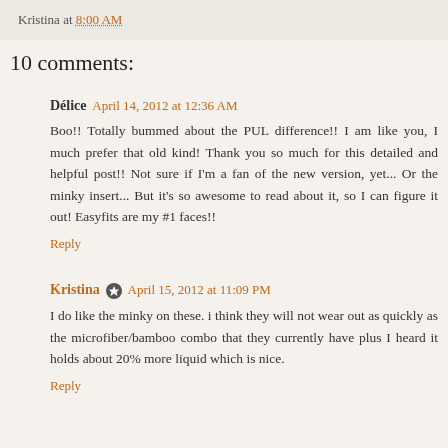Kristina at 8:00 AM
10 comments:
Délice  April 14, 2012 at 12:36 AM
Boo!! Totally bummed about the PUL difference!! I am like you, I much prefer that old kind! Thank you so much for this detailed and helpful post!! Not sure if I'm a fan of the new version, yet... Or the minky insert... But it's so awesome to read about it, so I can figure it out! Easyfits are my #1 faces!!
Reply
Kristina  April 15, 2012 at 11:09 PM
I do like the minky on these. i think they will not wear out as quickly as the microfiber/bamboo combo that they currently have plus I heard it holds about 20% more liquid which is nice.
Reply